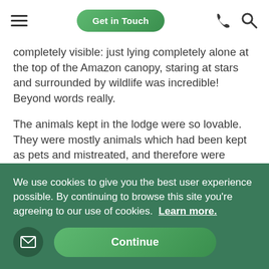Get in Touch
completely visible: just lying completely alone at the top of the Amazon canopy, staring at stars and surrounded by wildlife was incredible! Beyond words really.
The animals kept in the lodge were so lovable. They were mostly animals which had been kept as pets and mistreated, and therefore were cared for by Taricaya until they were well enough to be returned to the wild. They had such a variety from colourful parrots and toucans, to playful capuchin and squirrel monkeys, and a dangerous but wonderful jaguar. They even had animals that I had no idea of such as tapirs and a sloth!
We use cookies to give you the best user experience possible. By continuing to browse this site you're agreeing to our use of cookies.  Learn more.
Continue